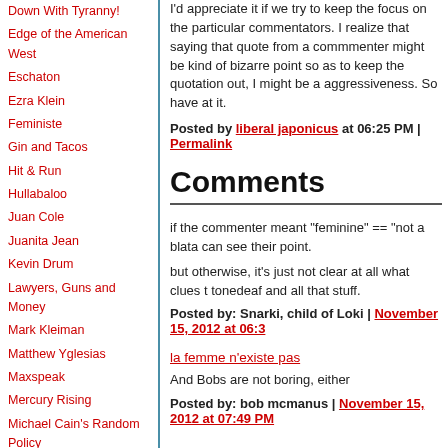Down With Tyranny!
Edge of the American West
Eschaton
Ezra Klein
Feministe
Gin and Tacos
Hit & Run
Hullabaloo
Juan Cole
Juanita Jean
Kevin Drum
Lawyers, Guns and Money
Mark Kleiman
Matthew Yglesias
Maxspeak
Mercury Rising
Michael Cain's Random Policy
Mightygodking
Mike the Mad Biologist
Orcinus
Paul Krugman
Pharyngula
I'd appreciate it if we try to keep the focus on the particular commentators. I realize that saying that quote from a commmenter might be kind of bizarre point so as to keep the quotation out, I might be aggressiveness. So have at it.
Posted by liberal japonicus at 06:25 PM | Permalink
Comments
if the commenter meant "feminine" == "not a blata can see their point.
but otherwise, it's just not clear at all what clues t tonedeaf and all that stuff.
Posted by: Snarki, child of Loki | November 15, 2012 at 06:3
la femme n'existe pas
And Bobs are not boring, either
Posted by: bob mcmanus | November 15, 2012 at 07:49 PM